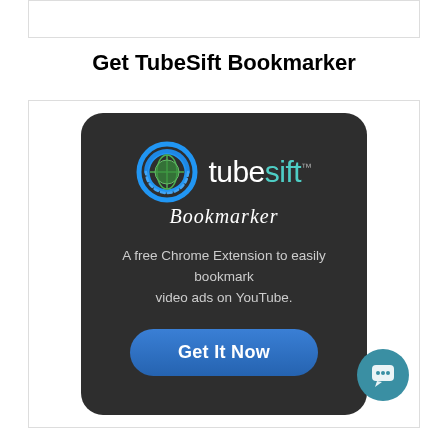Get TubeSift Bookmarker
[Figure (logo): TubeSift Bookmarker logo and promotional card on dark background with 'A free Chrome Extension to easily bookmark video ads on YouTube.' and a 'Get It Now' button]